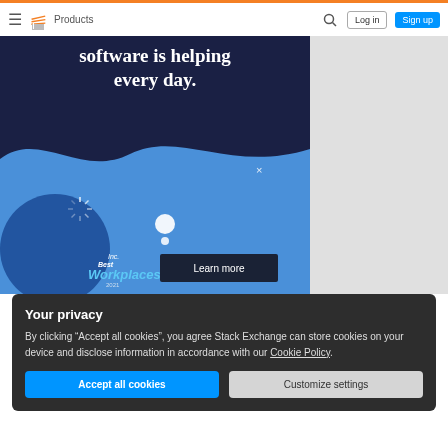Stack Overflow — Products | Log in | Sign up
[Figure (screenshot): Stack Overflow website hero banner showing text 'software is helping every day.' with a dark blue background, wave-shaped blue section, loading spinner, close X button, chat bubble, Inc. Best Workplaces 2021 badge, and a dark 'Learn more' button. Right side is a light grey area.]
Your privacy
By clicking "Accept all cookies", you agree Stack Exchange can store cookies on your device and disclose information in accordance with our Cookie Policy.
Accept all cookies
Customize settings